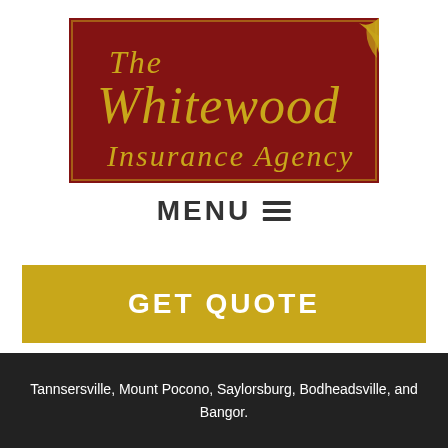[Figure (logo): The Whitewood Insurance Agency logo — dark red/maroon background with gold decorative text reading 'The Whitewood Insurance Agency' and ornamental gold corner flourish]
MENU ☰
GET QUOTE
Tannsersville, Mount Pocono, Saylorsburg, Bodheadsville, and Bangor.